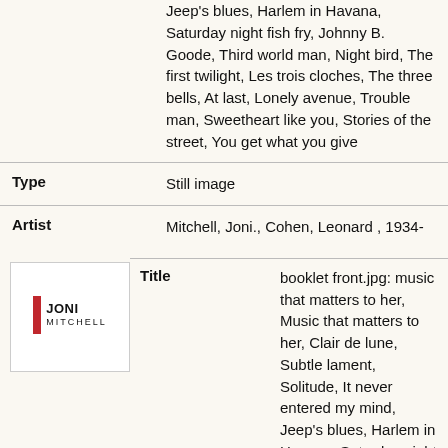|  | Jeep's blues, Harlem in Havana, Saturday night fish fry, Johnny B. Goode, Third world man, Night bird, The first twilight, Les trois cloches, The three bells, At last, Lonely avenue, Trouble man, Sweetheart like you, Stories of the street, You get what you give |
| Type | Still image |
| Artist | Mitchell, Joni., Cohen, Leonard , 1934- |
[Figure (logo): Joni Mitchell logo with red vertical bar and text JONI MITCHELL]
| Title | booklet front.jpg: music that matters to her, Music that matters to her, Clair de lune, Subtle lament, Solitude, It never entered my mind, Jeep's blues, Harlem in Havana, Saturday night fish fry, Johnny B. Goode, Third world man, Night bird, |